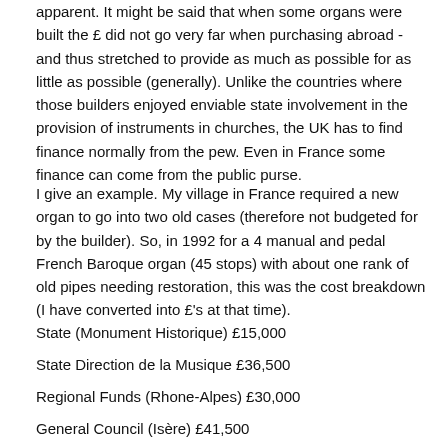apparent. It might be said that when some organs were built the £ did not go very far when purchasing abroad - and thus stretched to provide as much as possible for as little as possible (generally). Unlike the countries where those builders enjoyed enviable state involvement in the provision of instruments in churches, the UK has to find finance normally from the pew. Even in France some finance can come from the public purse.
I give an example. My village in France required a new organ to go into two old cases (therefore not budgeted for by the builder). So, in 1992 for a 4 manual and pedal French Baroque organ (45 stops) with about one rank of old pipes needing restoration, this was the cost breakdown (I have converted into £'s at that time).
State (Monument Historique) £15,000
State Direction de la Musique £36,500
Regional Funds (Rhone-Alpes) £30,000
General Council (Isère) £41,500